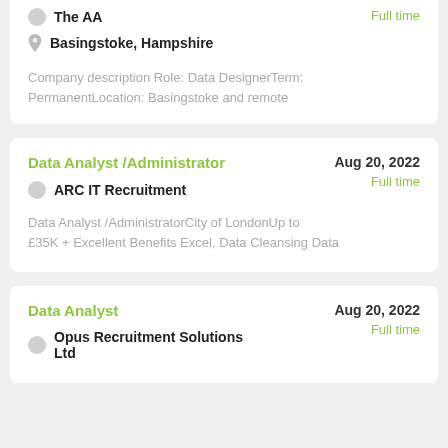The AA
Full time
Basingstoke, Hampshire
Company description Role: Data DesignerTerm: PermanentLocation: Basingstoke and remote
Data Analyst /Administrator
Aug 20, 2022
Full time
ARC IT Recruitment
Data Analyst /AdministratorCity of LondonUp to £35K + Excellent Benefits Excel, Data Cleansing Data
Data Analyst
Aug 20, 2022
Full time
Opus Recruitment Solutions Ltd